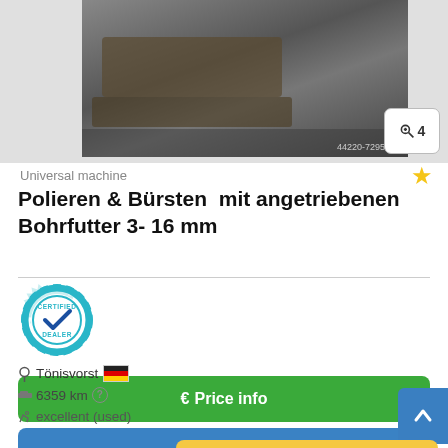[Figure (photo): Photo of a machine (polishing and brushing attachment) on a wooden pallet, with watermark '44220-7295460']
Universal machine
Polieren & Bürsten  mit angetriebenen Bohrfutter 3- 16 mm
[Figure (logo): Certified Dealer badge - teal gear icon with checkmark and text 'CERTIFIED DEALER']
€ Price info
✆ Call
Tönisvorst 🇩🇪
6359 km ?
excellent (used)
Save search query